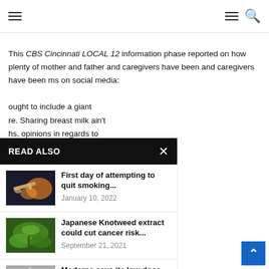Navigation header with hamburger menu and search icon
This CBS Cincinnati LOCAL 12 information phase reported on how plenty of mother and father and caregivers have been [sharing] claims on social media: [content continues] ought to include a giant [container]. Sharing breast milk ain't [healthy]. hs, opinions in regards to [others]. Keep in mind breast milk [is a] motive why you most likely [need] ent sorts of physique fluids [handled] roperly. A jug of any [liquid can] ake for an excellent [container for] que fluids, corresponding to [harmful] ful pathogens and [how they spread] ed it and the way its been
READ ALSO
[Figure (photo): Thumbnail photo of hands holding a cigarette with bokeh orange lights in background]
First day of attempting to quit smoking...
January 10, 2022
[Figure (photo): Thumbnail photo of Japanese Knotweed plant with green leaves]
Japanese Knotweed extract could cut cancer risk...
September 21, 2021
[Figure (photo): Thumbnail photo of hand holding a vaccine vial and syringe]
Moderna says its low-dose Covid vaccine works...
October 25, 2021